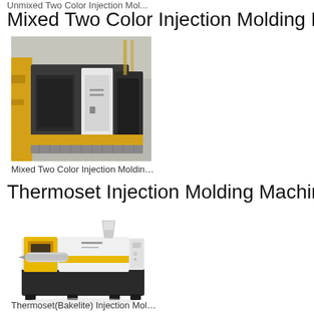Unmixed Two Color Injection Mol...
Mixed Two Color Injection Molding Machin
[Figure (photo): Photo of a mixed two color injection molding machine in a factory setting, showing yellow and dark grey components]
Mixed Two Color Injection Moldin…
Thermoset Injection Molding Machine
[Figure (photo): Photo of a thermoset injection molding machine, white and yellow body with dark base, side view on white background]
Thermoset(Bakelite) Injection Mol…